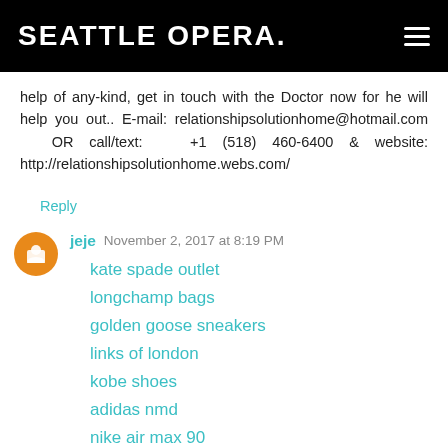SEATTLE OPERA.
help of any-kind, get in touch with the Doctor now for he will help you out.. E-mail: relationshipsolutionhome@hotmail.com OR call/text: +1 (518) 460-6400 & website: http://relationshipsolutionhome.webs.com/
Reply
jeje November 2, 2017 at 8:19 PM
kate spade outlet
longchamp bags
golden goose sneakers
links of london
kobe shoes
adidas nmd
nike air max 90